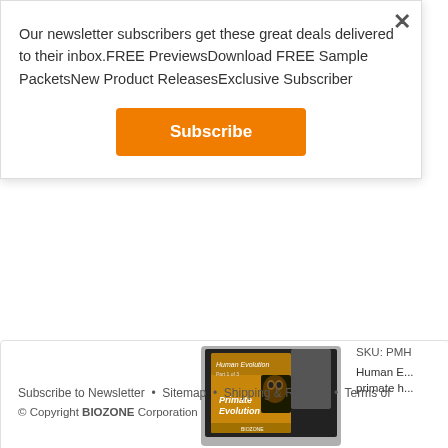Our newsletter subscribers get these great deals delivered to their inbox.FREE PreviewsDownload FREE Sample PacketsNew Product ReleasesExclusive Subscriber
Subscribe
[Figure (photo): Product image showing 'Primate Evolution' and 'Human Evolution' educational materials displayed on a screen/tablet with a tarsier primate image]
SKU: PMH
Human E... primate h...
Subscribe to Newsletter  •  Sitemap  •  Shipping & Returns  •  Terms of
© Copyright BIOZONE Corporation